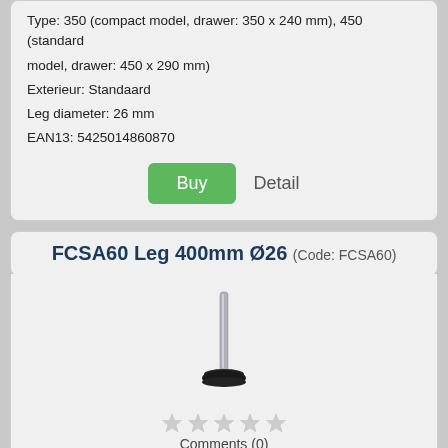Type: 350 (compact model, drawer: 350 x 240 mm), 450 (standard model, drawer: 450 x 290 mm)
Exterieur: Standaard
Leg diameter: 26 mm
EAN13: 5425014860870
Buy | Detail
FCSA60 Leg 400mm Ø26 (Code: FCSA60)
[Figure (photo): Product photo of a metal furniture leg with round black foot, tall and narrow, approximately 400mm, 26mm diameter]
Comments (0)
Price: EUR 12,14
Incl. 21 % TAX plus shipping